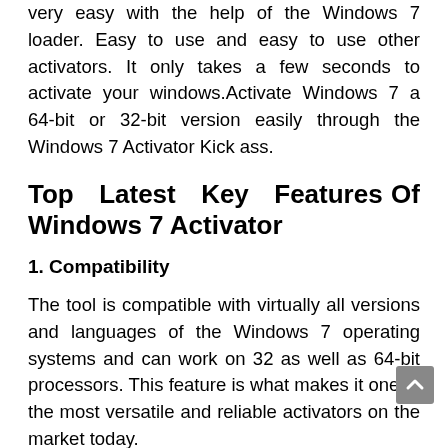very easy with the help of the Windows 7 loader. Easy to use and easy to use other activators. It only takes a few seconds to activate your windows.Activate Windows 7 a 64-bit or 32-bit version easily through the Windows 7 Activator Kick ass.
Top Latest Key Features Of Windows 7 Activator
1. Compatibility
The tool is compatible with virtually all versions and languages of the Windows 7 operating systems and can work on 32 as well as 64-bit processors. This feature is what makes it one of the most versatile and reliable activators on the market today.